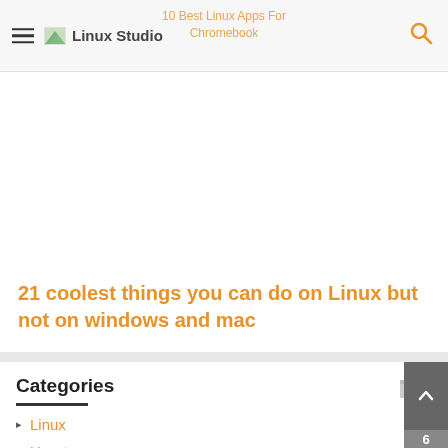Linux Studio
10 Best Linux Apps For Chromebook
21 coolest things you can do on Linux but not on windows and mac
Categories
Linux
How to